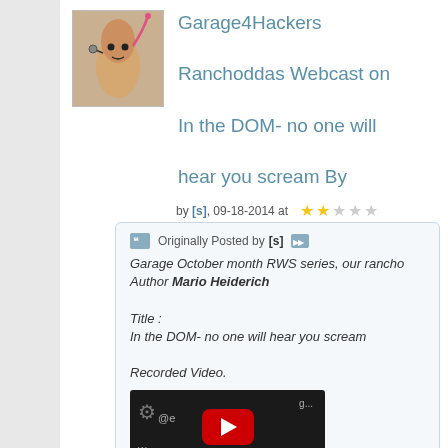[Figure (photo): Avatar image of a finger with a drawn face holding something]
Garage4Hackers Ranchoddas Webcast on In the DOM- no one will hear you scream By
by [s], 09-18-2014 at 03:44 PM
Originally Posted by [s]
Garage October month RWS series, our rancho Author Mario Heiderich

Title :
In the DOM- no one will hear you scream

Recorded Video.
[Figure (screenshot): YouTube video thumbnail embedded in the post]